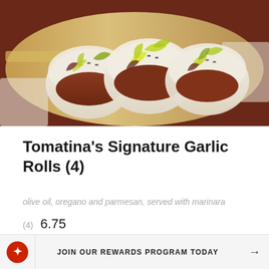[Figure (photo): Overhead photo of three tacos/bao buns with greens and fillings arranged on a wooden cutting board]
Tomatina’s Signature Garlic Rolls (4)
olive oil, oregano and parmesan, served with marinara
(4)  6.75
JOIN OUR REWARDS PROGRAM TODAY →